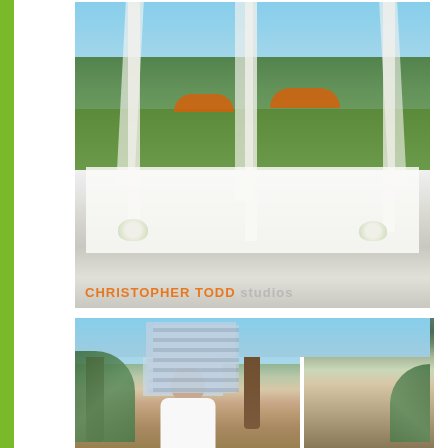[Figure (photo): Outdoor wedding ceremony setup with white canopy draped with white fabric, orange patio umbrellas in background, white floral arrangements at base of canopy posts, white tablecloth-covered table in foreground, green lawn and tropical trees in background. Watermark reads 'CHRISTOPHER TODD studios' at bottom left.]
[Figure (photo): Portrait of a bride with updo hairstyle photographed outdoors with palm trees and city buildings (glass office tower) in the background, blurred bokeh effect.]
[Figure (photo): Partial photo showing palm trees and a glass office building in the background, similar outdoor urban setting.]